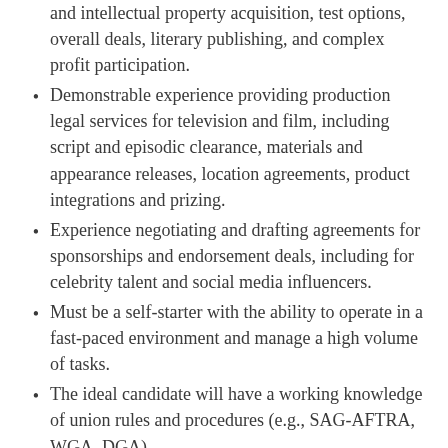and intellectual property acquisition, test options, overall deals, literary publishing, and complex profit participation.
Demonstrable experience providing production legal services for television and film, including script and episodic clearance, materials and appearance releases, location agreements, product integrations and prizing.
Experience negotiating and drafting agreements for sponsorships and endorsement deals, including for celebrity talent and social media influencers.
Must be a self-starter with the ability to operate in a fast-paced environment and manage a high volume of tasks.
The ideal candidate will have a working knowledge of union rules and procedures (e.g., SAG-AFTRA, WGA, DGA).
Pre-existing relationships with talent agents, entertainment lawyers, and business/legal affairs executives are a plus.
The successful candidate will have excellent academic credentials, strong writing skills and